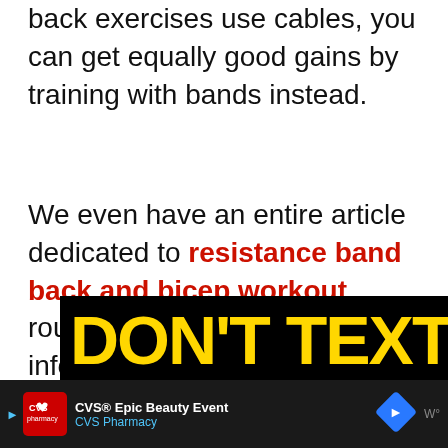back exercises use cables, you can get equally good gains by training with bands instead.
We even have an entire article dedicated to resistance band back and bicep workout routines if you'd like more information.
[Figure (photo): Advertisement banner showing 'DON'T TEXT' in large yellow text on black background, partially visible, with a blue partial word below]
[Figure (screenshot): Bottom advertisement bar for CVS Pharmacy - CVS Epic Beauty Event with CVS Pharmacy logo in red, blue navigation arrow diamond icon, and weather icon on dark background]